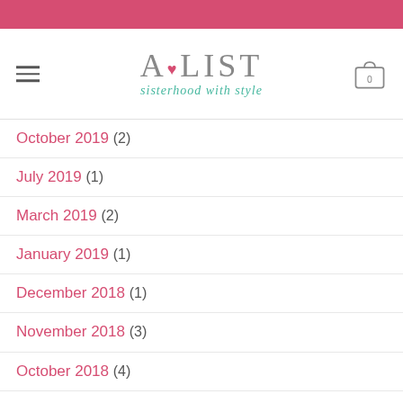A•LIST sisterhood with style
October 2019 (2)
July 2019 (1)
March 2019 (2)
January 2019 (1)
December 2018 (1)
November 2018 (3)
October 2018 (4)
September 2018 (3)
July 2018 (1)
March 2018 (6)
November 2017 (25)